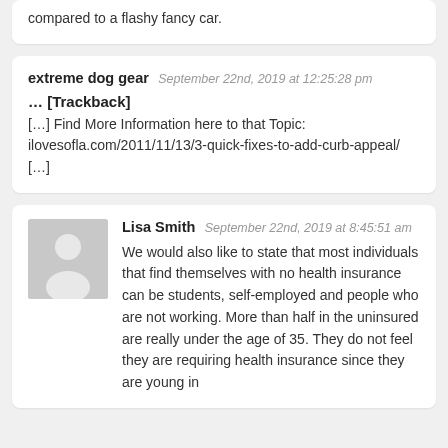compared to a flashy fancy car.
extreme dog gear September 22nd, 2019 at 12:25:28 pm
… [Trackback]
[…] Find More Information here to that Topic: ilovesofla.com/2011/11/13/3-quick-fixes-to-add-curb-appeal/ […]
Lisa Smith September 22nd, 2019 at 8:45:51 am
We would also like to state that most individuals that find themselves with no health insurance can be students, self-employed and people who are not working. More than half in the uninsured are really under the age of 35. They do not feel they are requiring health insurance since they are young in